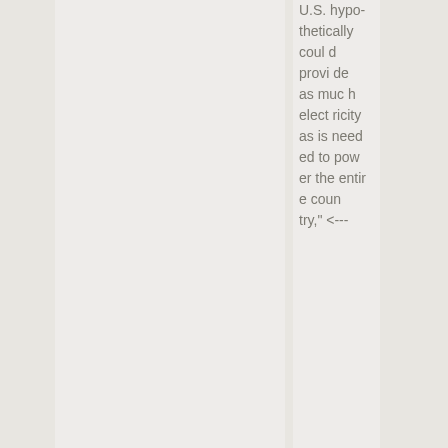U.S. hypothetically could provide as much electricity as is needed to power the entire country," <---